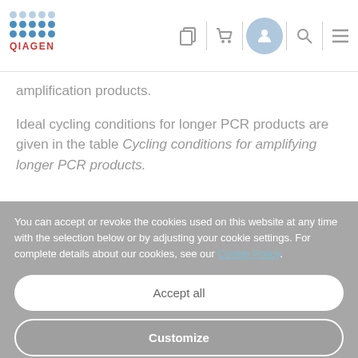QIAGEN navigation bar with logo and icons
amplification products.
Ideal cycling conditions for longer PCR products are given in the table Cycling conditions for amplifying longer PCR products.
You can accept or revoke the cookies used on this website at any time with the selection below or by adjusting your cookie settings. For complete details about our cookies, see our Cookie Policy.
Accept all
Customize
Only necessary